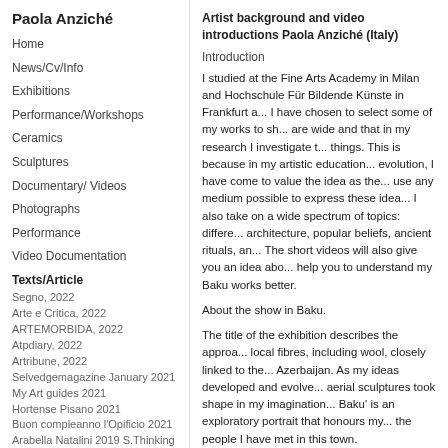Paola Anziché
Home
News/Cv/Info
Exhibitions
Performance/Workshops
Ceramics
Sculptures
Documentary/ Videos
Photographs
Performance
Video Documentation
Texts/Article
Segno, 2022
Arte e Critica, 2022
ARTEMORBIDA, 2022
Atpdiary, 2022
Artribune, 2022
Selvedgemagazine January 2021
My Art guides 2021
Hortense Pisano 2021
Buon compleanno l'Opificio 2021
Arabella Natalini 2019 S.Thinking
Renata Bonfanti -P.Anzichè-F. Picchi 2016
Francesca Picchi, 2016
Ivan Bargna, 2015
Artist background and video introductions Paola Anziché (Italy)
Introduction
I studied at the Fine Arts Academy in Milan and Hochschule Für Bildende Künste in Frankfurt a... I have chosen to select some of my works to sh... are wide and that in my research I investigate t... things. This is because in my artistic education... evolution, I have come to value the idea as the... use any medium possible to express these idea... I also take on a wide spectrum of topics: differe... architecture, popular beliefs, ancient rituals, an... The short videos will also give you an idea abo... help you to understand my Baku works better.
About the show in Baku.
The title of the exhibition describes the approa... local fibres, including wool, closely linked to the... Azerbaijan. As my ideas developed and evolve... aerial sculptures took shape in my imagination... Baku' is an exploratory portrait that honours my... the people I have met in this town.
Video 1: 'Tapis-à-porter' (2009)
It was show at Careof Milano, a non-profit orga... contemporary artistic research.
This video documents the preparatory stages o... sculptures. They are turned into a sort of garme... use the video recording to study movements an... frames, thus building specific relationships betv...
The idea of metamorphosis is also central to th... fabric they are made of, the traditional pezzotti,... from rags, evokes an idea of fleetingness. I cr...